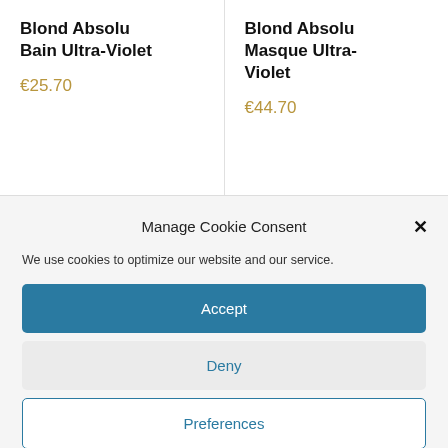Blond Absolu Bain Ultra-Violet
€25.70
Blond Absolu Masque Ultra-Violet
€44.70
Manage Cookie Consent
We use cookies to optimize our website and our service.
Accept
Deny
Preferences